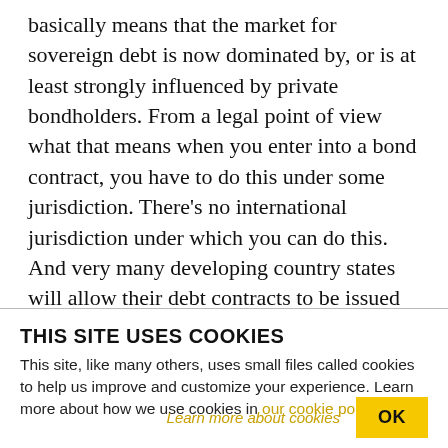basically means that the market for sovereign debt is now dominated by, or is at least strongly influenced by private bondholders. From a legal point of view what that means when you enter into a bond contract, you have to do this under some jurisdiction. There's no international jurisdiction under which you can do this. And very many developing country states will allow their debt contracts to be issued under in particular U.S. and UK legislation–jurisdiction, sorry, because this reinforces investor confidence in the credibility of
THIS SITE USES COOKIES
This site, like many others, uses small files called cookies to help us improve and customize your experience. Learn more about how we use cookies in our cookie policy.
Learn more about cookies
OK